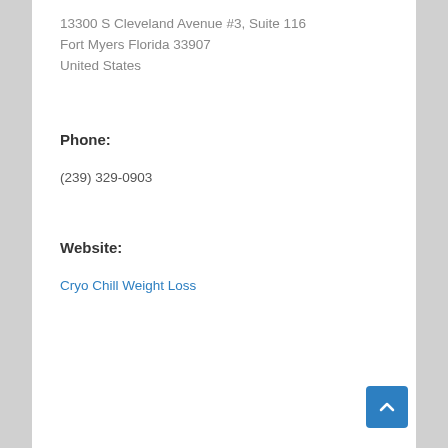13300 S Cleveland Avenue #3, Suite 116
Fort Myers Florida 33907
United States
Phone:
(239) 329-0903
Website:
Cryo Chill Weight Loss